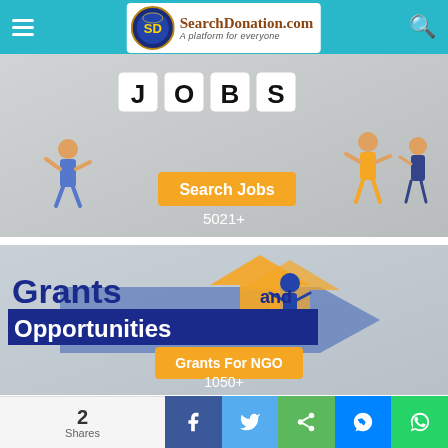SearchDonation.com — A platform for everyone
[Figure (photo): Jobs section with toy figures around JOBS letter blocks, orange 'Search Jobs' button overlay, count 5021+]
5021+
[Figure (photo): Grants and Opportunities graphic with arrow logo, orange 'Grants For NGO' button overlay, count 1050+]
1050+
2 Shares — Facebook, Twitter, Share, Messenger, WhatsApp